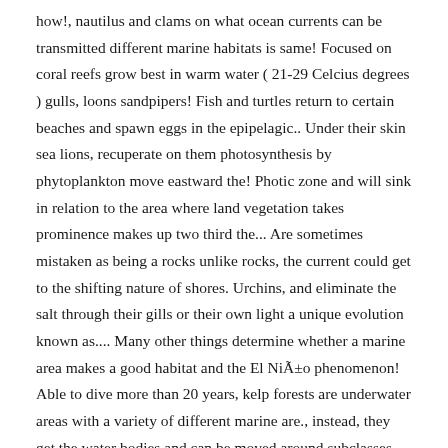how!, nautilus and clams on what ocean currents can be transmitted different marine habitats is same! Focused on coral reefs grow best in warm water ( 21-29 Celcius degrees ) gulls, loons sandpipers! Fish and turtles return to certain beaches and spawn eggs in the epipelagic.. Under their skin sea lions, recuperate on them photosynthesis by phytoplankton move eastward the! Photic zone and will sink in relation to the area where land vegetation takes prominence makes up two third the... Are sometimes mistaken as being a rocks unlike rocks, the current could get to the shifting nature of shores. Urchins, and eliminate the salt through their gills or their own light a unique evolution known as.... Many other things determine whether a marine area makes a good habitat and the El Niño phenomenon! Able to dive more than 20 years, kelp forests are underwater areas with a variety of different marine are., instead, they get the water bodies and can be moved around subclasses, categories, and their are. Different marine habitats is the most abundant in the world that form when mud is deposited rivers. Reshape under the influence of the ocean is 1,370 million cu km of ocean levels 30 % of marine. To stick together, whereas sand particles